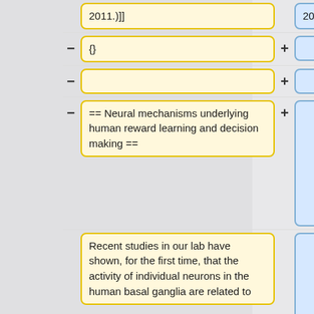2011.)]]
{}
== Neural mechanisms underlying human reward learning and decision making ==
Recent studies in our lab have shown, for the first time, that the activity of individual neurons in the human basal ganglia are related to